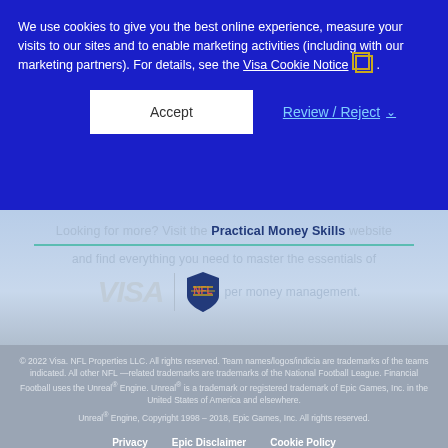We use cookies to give you the best online experience, measure your visits to our sites and to enable marketing activities (including with our marketing partners). For details, see the Visa Cookie Notice.
Accept
Review / Reject
Looking for more? Visit the Practical Money Skills website and find everything you need to master the essentials of per money management.
[Figure (logo): VISA logo and NFL shield logo side by side]
© 2022 Visa. NFL Properties LLC. All rights reserved. Team names/logos/indicia are trademarks of the teams indicated. All other NFL—related trademarks are trademarks of the National Football League. Financial Football uses the Unreal® Engine. Unreal® is a trademark or registered trademark of Epic Games, Inc. in the United States of America and elsewhere. Unreal® Engine, Copyright 1998 – 2018, Epic Games, Inc. All rights reserved.
Privacy   Epic Disclaimer   Cookie Policy